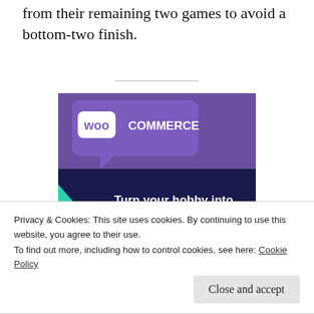from their remaining two games to avoid a bottom-two finish.
[Figure (illustration): WooCommerce advertisement banner with dark purple background, teal and cyan geometric shapes, WooCommerce logo in purple speech bubble, and text 'Turn your hobby into a business in 8 steps']
Privacy & Cookies: This site uses cookies. By continuing to use this website, you agree to their use.
To find out more, including how to control cookies, see here: Cookie Policy
Close and accept